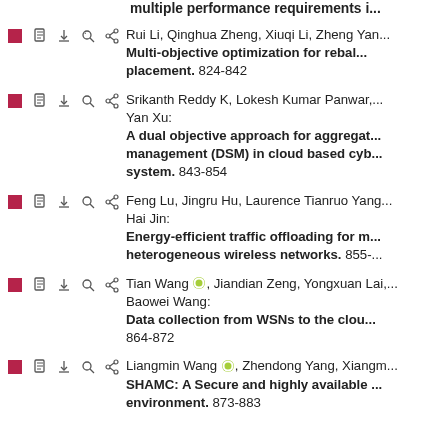multiple performance requirements i...
Rui Li, Qinghua Zheng, Xiuqi Li, Zheng Yan. Multi-objective optimization for rebalancement placement. 824-842
Srikanth Reddy K, Lokesh Kumar Panwar, Yan Xu: A dual objective approach for aggregation management (DSM) in cloud based cyber system. 843-854
Feng Lu, Jingru Hu, Laurence Tianruo Yang, Hai Jin: Energy-efficient traffic offloading for heterogeneous wireless networks. 855-
Tian Wang, Jiandian Zeng, Yongxuan Lai, Baowei Wang: Data collection from WSNs to the cloud 864-872
Liangmin Wang, Zhendong Yang, Xiangm... SHAMC: A Secure and highly available environment. 873-883